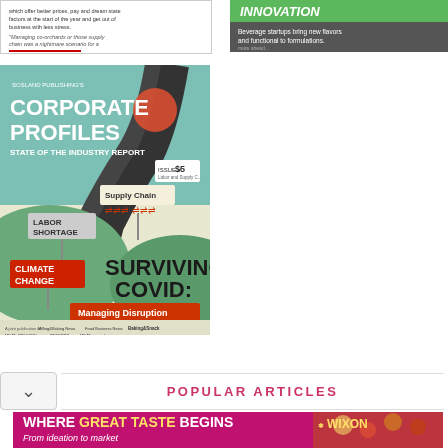[Figure (photo): Article thumbnail with text, white background with small article excerpt]
[Figure (photo): Article thumbnail with green INNOVATION banner and beverage startup photo]
[Figure (illustration): Sosland Publishing Corporate Profiles State of the Industry Report cover showing road with signs: Labor Shortage, Supply Chain, Climate Change, Surviving COVID: Managing Disruption]
POPULAR ARTICLES
[Figure (photo): Wixon advertisement banner: WHERE GREAT TASTE BEGINS From ideation to market, with food photos]